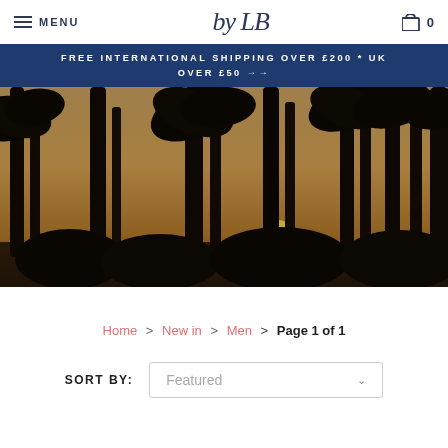MENU | by LB | 0
FREE INTERNATIONAL SHIPPING OVER £200 * UK OVER £50 →→
[Figure (photo): Tropical sunset scene with silhouetted palm trees against a golden/amber sky, sun visible through the trees]
Home > New in > Men > Page 1 of 1
SORT BY: Featured